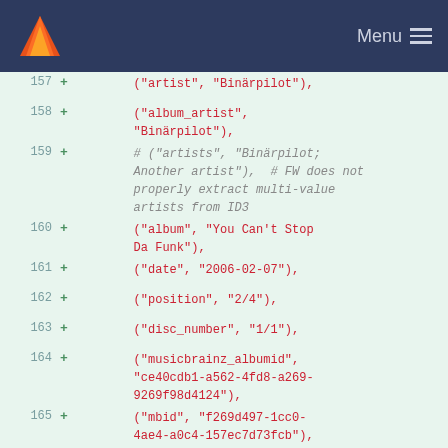Menu
157 + ("artist", "Binärpilot"),
158 + ("album_artist", "Binärpilot"),
159 + # ("artists", "Binärpilot; Another artist"),  # FW does not properly extract multi-value artists from ID3
160 + ("album", "You Can't Stop Da Funk"),
161 + ("date", "2006-02-07"),
162 + ("position", "2/4"),
163 + ("disc_number", "1/1"),
164 + ("musicbrainz_albumid", "ce40cdb1-a562-4fd8-a269-9269f98d4124"),
165 + ("mbid", "f269d497-1cc0-4ae4-a0c4-157ec7d73fcb"),
166 + ("musicbrainz_artistid", "9c6bddde-6228-4d9f-ad0d-03f6fcb19e13"),